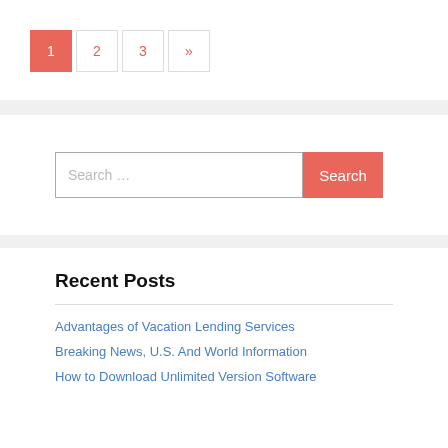1 2 3 »
Search ...
Recent Posts
Advantages of Vacation Lending Services
Breaking News, U.S. And World Information
How to Download Unlimited Version Software